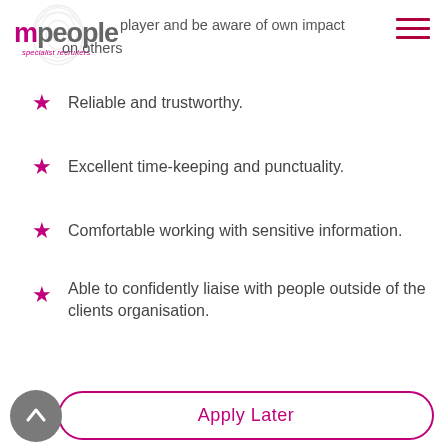player and be aware of own impact on others
Reliable and trustworthy.
Excellent time-keeping and punctuality.
Comfortable working with sensitive information.
Able to confidently liaise with people outside of the clients organisation.
Apply Later